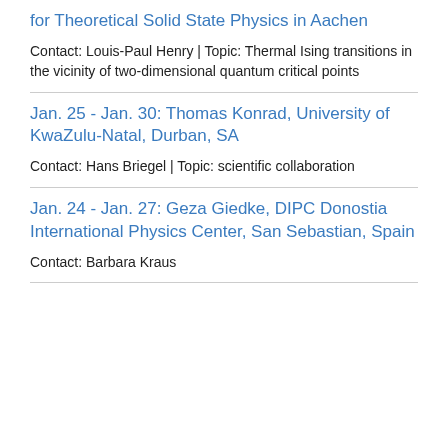for Theoretical Solid State Physics in Aachen
Contact: Louis-Paul Henry | Topic: Thermal Ising transitions in the vicinity of two-dimensional quantum critical points
Jan. 25 - Jan. 30: Thomas Konrad, University of KwaZulu-Natal, Durban, SA
Contact: Hans Briegel | Topic: scientific collaboration
Jan. 24 - Jan. 27: Geza Giedke, DIPC Donostia International Physics Center, San Sebastian, Spain
Contact: Barbara Kraus